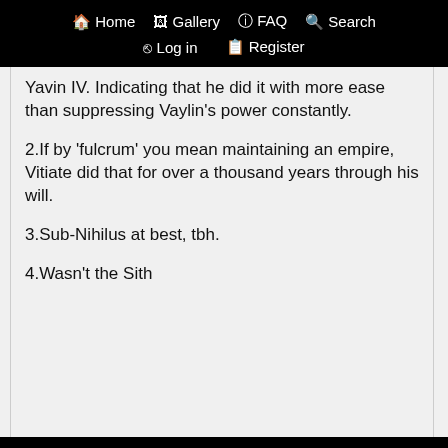Home  Gallery  FAQ  Search  Log in  Register
Yavin IV. Indicating that he did it with more ease than suppressing Vaylin's power constantly.
2.If by 'fulcrum' you mean maintaining an empire, Vitiate did that for over a thousand years through his will.
3.Sub-Nihilus at best, tbh.
4.Wasn't the Sith